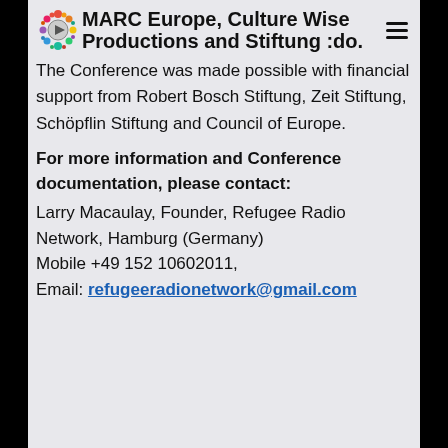MARC Europe, Culture Wise Productions and Stiftung :do.
The Conference was made possible with financial support from Robert Bosch Stiftung, Zeit Stiftung, Schöpflin Stiftung and Council of Europe.
For more information and Conference documentation, please contact:
Larry Macaulay, Founder, Refugee Radio Network, Hamburg (Germany)
Mobile +49 152 10602011,
Email: refugeeradionetwork@gmail.com